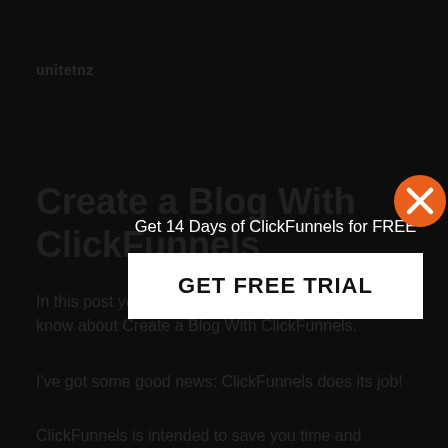unitetnz
Create a Blog With ClickFunnels
In this post you'll learn everything you need to know about Create a Blog With ClickFunnels.
I've got some good news: ClickFunnels does its job!
ClickFunnels is intended to save you time and energy-to do what otherwise requires a lot of
[Figure (screenshot): Modal popup overlay with text 'Get 14 Days of ClickFunnels for FREE' and a white button labeled 'GET FREE TRIAL', with an orange X close button in the top right corner]